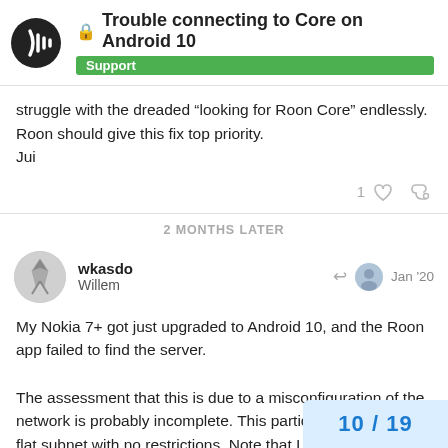Trouble connecting to Core on Android 10 — Support
struggle with the dreaded “looking for Roon Core” endlessly. Roon should give this fix top priority.
Jui
2 MONTHS LATER
wkasdo Willem — Jan '20
My Nokia 7+ got just upgraded to Android 10, and the Roon app failed to find the server.

The assessment that this is due to a misconfiguration of the network is probably incomplete. This particular network is a flat subnet with no restrictions. Note that I am not using a Nucleus; I am running Roon from a NAS (w...
10 / 19